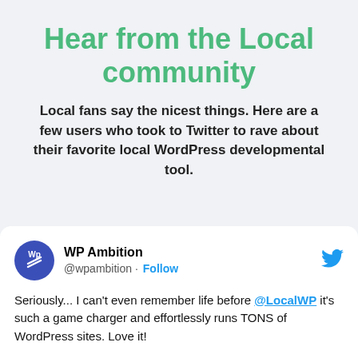Hear from the Local community
Local fans say the nicest things. Here are a few users who took to Twitter to rave about their favorite local WordPress developmental tool.
WP Ambition @wpambition · Follow
Seriously... I can't even remember life before @LocalWP it's such a game charger and effortlessly runs TONS of WordPress sites. Love it!